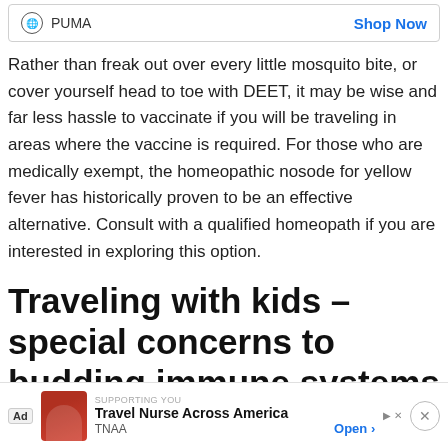[Figure (screenshot): PUMA advertisement banner with globe icon and Shop Now link in blue]
Rather than freak out over every little mosquito bite, or cover yourself head to toe with DEET, it may be wise and far less hassle to vaccinate if you will be traveling in areas where the vaccine is required. For those who are medically exempt, the homeopathic nosode for yellow fever has historically proven to be an effective alternative. Consult with a qualified homeopath if you are interested in exploring this option.
Traveling with kids – special concerns to budding immune systems
The delicate…immune systems…g
[Figure (screenshot): Bottom ad banner: Travel Nurse Across America (TNAA) advertisement with Open button and close X button]